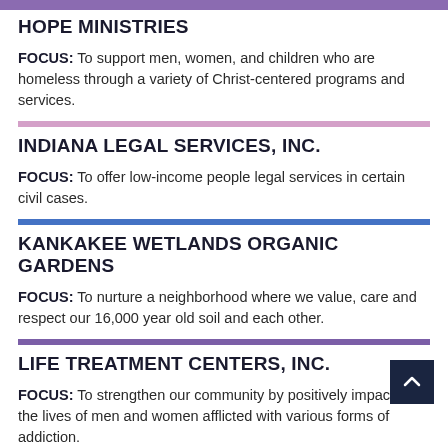HOPE MINISTRIES
FOCUS: To support men, women, and children who are homeless through a variety of Christ-centered programs and services.
INDIANA LEGAL SERVICES, INC.
FOCUS: To offer low-income people legal services in certain civil cases.
KANKAKEE WETLANDS ORGANIC GARDENS
FOCUS: To nurture a neighborhood where we value, care and respect our 16,000 year old soil and each other.
LIFE TREATMENT CENTERS, INC.
FOCUS: To strengthen our community by positively impacting the lives of men and women afflicted with various forms of addiction.
LOGAN CENTER – CELC SITE
FOCUS: To support people with disabilities in achieving their desired